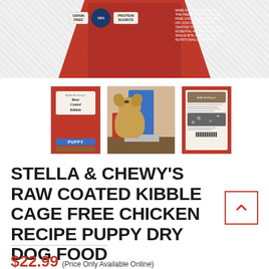[Figure (photo): Top portion of a red Stella & Chewy's Raw Coated Kibble dog food bag, showing grain-free and protein-source badges and USA seal, cropped at top of page]
[Figure (photo): Three product thumbnail images: (1) front of red Stella & Chewy's Raw Coated Kibble Puppy bag, (2) golden doodle puppy sitting next to red product bags with person's legs visible, (3) back of red Stella & Chewy's Raw Coated Kibble bag showing kibble and nutritional info]
STELLA & CHEWY'S RAW COATED KIBBLE CAGE FREE CHICKEN RECIPE PUPPY DRY DOG FOOD
$22.99 (Price Only Available Online)